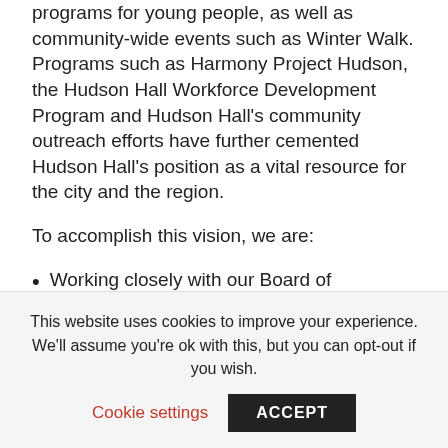programs for young people, as well as community-wide events such as Winter Walk. Programs such as Harmony Project Hudson, the Hudson Hall Workforce Development Program and Hudson Hall's community outreach efforts have further cemented Hudson Hall's position as a vital resource for the city and the region.
To accomplish this vision, we are:
Working closely with our Board of Directors, a diverse group of individuals who represent the intersection of arts, culture, business, education, and philanthropy that is crucial to our success;
This website uses cookies to improve your experience. We'll assume you're ok with this, but you can opt-out if you wish.
Cookie settings   ACCEPT